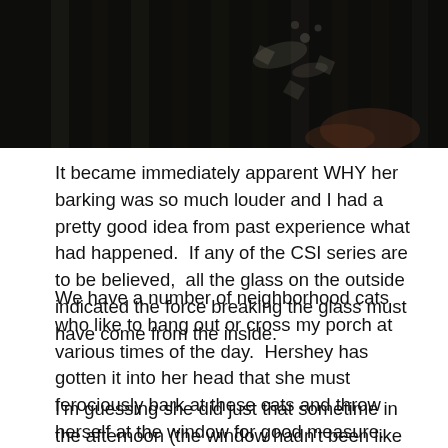[Figure (photo): Dark close-up photograph showing broken glass on what appears to be wooden slats or a surface, with fragments and debris visible]
It became immediately apparent WHY her barking was so much louder and I had a pretty good idea from past experience what had happened.  If any of the CSI series are to be believed,  all the glass on the outside indicated the force breaking the glass must have come from the inside.
We have a number of neighborhood cats who like to hang out or cross my porch at various times of the day.  Hershey has gotten it into her head that she must ferociously bark at these cats and throw herself at the window for good measure.
I'm guessing she did just that sometime in the afternoon (the window hadn't been like that when my Mom checked on them at 11:30) and the window, having had as much as it was going to take, fought back in the only way windows know how.